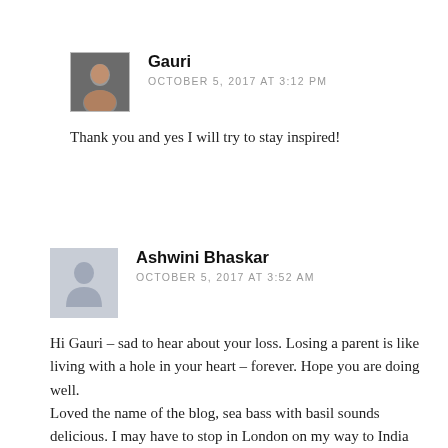Gauri
OCTOBER 5, 2017 AT 3:12 PM
Thank you and yes I will try to stay inspired!
Ashwini Bhaskar
OCTOBER 5, 2017 AT 3:52 AM
Hi Gauri – sad to hear about your loss. Losing a parent is like living with a hole in your heart – forever. Hope you are doing well.
Loved the name of the blog, sea bass with basil sounds delicious. I may have to stop in London on my way to India this Dec.